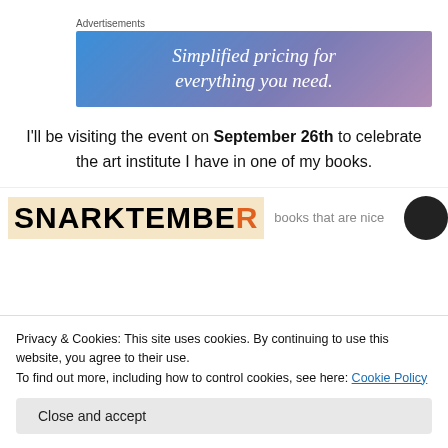Advertisements
[Figure (illustration): Advertisement banner with gradient background (blue to purple) showing the text 'Simplified pricing for everything you need.' in white italic serif font.]
I'll be visiting the event on September 26th to celebrate the art institute I have in one of my books.
[Figure (illustration): Snarktember logo banner: dark background strip with 'SNARKTEMBER' in large bold letters on cream background, 'R' in orange, with handwritten-style text '...books that are nice' and a circular dark badge on the right.]
Privacy & Cookies: This site uses cookies. By continuing to use this website, you agree to their use.
To find out more, including how to control cookies, see here: Cookie Policy
Close and accept